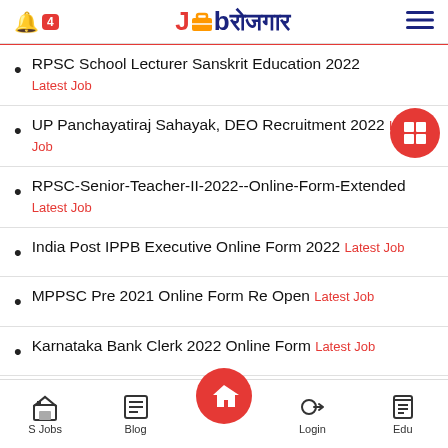Job rojagar (Job Rojgar) - mobile app header with bell icon, badge 4, logo, and hamburger menu
RPSC School Lecturer Sanskrit Education 2022 Latest Job
UP Panchayatiraj Sahayak, DEO Recruitment 2022 Latest Job
RPSC-Senior-Teacher-II-2022--Online-Form-Extended Latest Job
India Post IPPB Executive Online Form 2022 Latest Job
MPPSC Pre 2021 Online Form Re Open Latest Job
Karnataka Bank Clerk 2022 Online Form Latest Job
UPPCL-Assistant-Engineer-Civil-2022-Online-
S Jobs | Blog | Home | Login | Edu